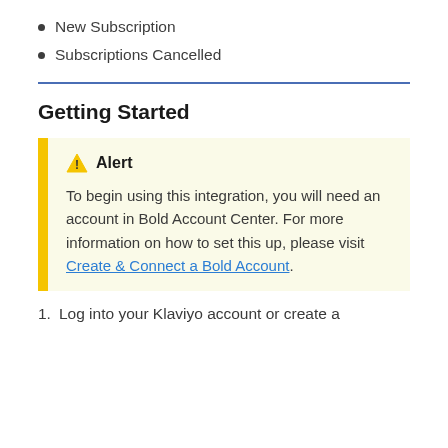New Subscription
Subscriptions Cancelled
Getting Started
Alert
To begin using this integration, you will need an account in Bold Account Center. For more information on how to set this up, please visit Create & Connect a Bold Account.
Log into your Klaviyo account or create a